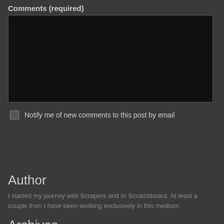Comments (required)
Notify me of new comments to this post by email
SUBMIT
Author
I started my journey with Scrapers and or Scratchboard. At least a couple from I have been working exclusively in this medium.
Archives
June 2022
May 2022
April 2022
March 2022